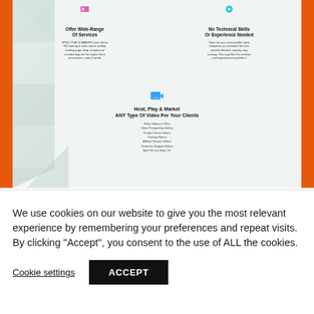[Figure (screenshot): Screenshot of a web application showing a product page with orange vertical border bars, a light geometric triangle background, two-column section with 'Offer Wide-Range Of Services' and 'No Technical Skills Or Experience Needed' headings with small body text, and a centered lower section with a video icon, bold heading 'Host, Play & Market ANY Type Of Video For Your Clients', and a list of video types.]
We use cookies on our website to give you the most relevant experience by remembering your preferences and repeat visits. By clicking "Accept", you consent to the use of ALL the cookies.
Cookie settings   ACCEPT